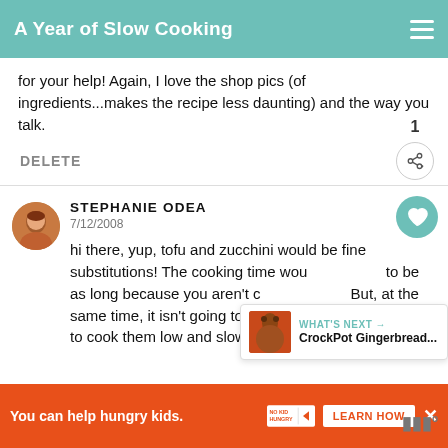A Year of Slow Cooking
for your help! Again, I love the shop pics (of ingredients...makes the recipe less daunting) and the way you talk.
DELETE
STEPHANIE ODEA
7/12/2008
hi there, yup, tofu and zucchini would be fine substitutions! The cooking time would not need to be as long because you aren't c... But, at the same time, it isn't going to hurt the tofu or the veggies to cook them low and slow.
WHAT'S NEXT → CrockPot Gingerbread...
You can help hungry kids. NO KID HUNGRY LEARN HOW